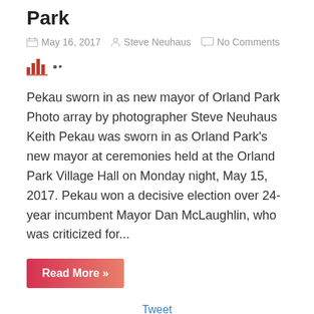Park
May 16, 2017   Steve Neuhaus   No Comments
[Figure (other): Bar chart icon followed by two small dots]
Pekau sworn in as new mayor of Orland Park Photo array by photographer Steve Neuhaus Keith Pekau was sworn in as Orland Park's new mayor at ceremonies held at the Orland Park Village Hall on Monday night, May 15, 2017. Pekau won a decisive election over 24-year incumbent Mayor Dan McLaughlin, who was criticized for...
Read More »
Tweet